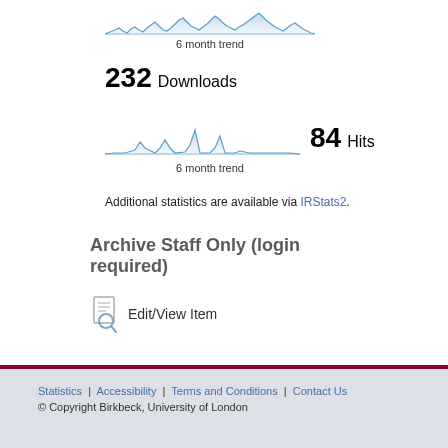[Figure (continuous-plot): 6 month trend sparkline for downloads — small blue area/line chart showing activity spikes]
6 month trend
232 Downloads
[Figure (continuous-plot): 6 month trend sparkline for hits — small blue area/line chart showing activity spikes]
84 Hits
6 month trend
Additional statistics are available via IRStats2.
Archive Staff Only (login required)
Edit/View Item
Statistics | Accessibility | Terms and Conditions | Contact Us © Copyright Birkbeck, University of London